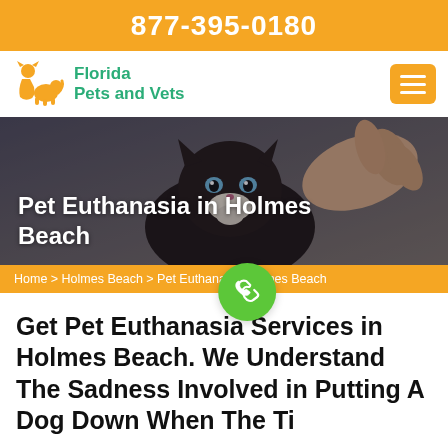877-395-0180
[Figure (logo): Florida Pets and Vets logo with orange silhouette of person with cat and dog]
[Figure (photo): Siamese cat with blue eyes being petted by a human hand, hero banner image]
Pet Euthanasia in Holmes Beach
Home > Holmes Beach > Pet Euthanasia Holmes Beach
[Figure (illustration): Green circular phone call button icon]
Get Pet Euthanasia Services in Holmes Beach. We Understand The Sadness Involved in Putting A Dog Down When The Ti...